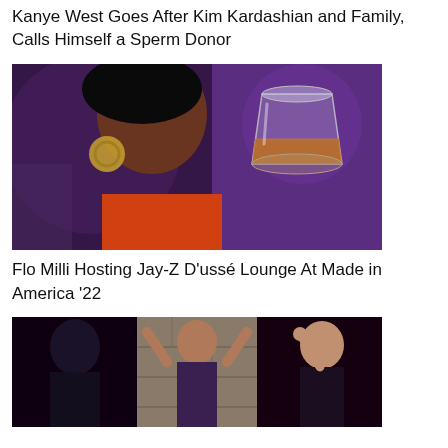Kanye West Goes After Kim Kardashian and Family, Calls Himself a Sperm Donor
[Figure (photo): Flo Milli performing on stage with a whiskey glass emoji overlay, purple stage lighting in background, wearing orange top and large hoop earrings]
Flo Milli Hosting Jay-Z D'ussé Lounge At Made in America '22
[Figure (photo): Group of women at a party/event, two women dancing with arms raised in center, stone wall background]